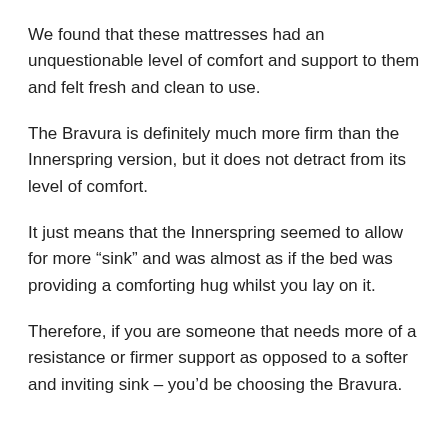We found that these mattresses had an unquestionable level of comfort and support to them and felt fresh and clean to use.
The Bravura is definitely much more firm than the Innerspring version, but it does not detract from its level of comfort.
It just means that the Innerspring seemed to allow for more “sink” and was almost as if the bed was providing a comforting hug whilst you lay on it.
Therefore, if you are someone that needs more of a resistance or firmer support as opposed to a softer and inviting sink – you’d be choosing the Bravura.